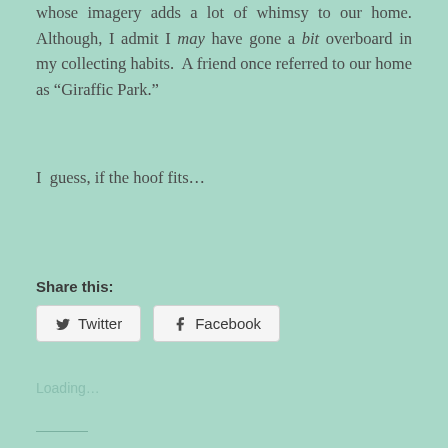whose imagery adds a lot of whimsy to our home. Although, I admit I may have gone a bit overboard in my collecting habits.  A friend once referred to our home as “Giraffic Park.”
I  guess, if the hoof fits…
Share this:
Loading...